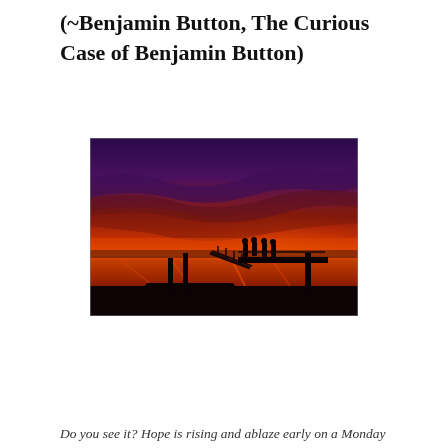(~Benjamin Button, The Curious Case of Benjamin Button)
[Figure (photo): A vivid sunset over a waterfront dock scene. The sky transitions from deep purple at the top through brilliant reds and oranges near the horizon. Dark silhouettes of dock pilings, a boat, a ramp/gangway, and several people standing on the dock are visible against the fiery sky. The water reflects the warm orange and red colors.]
Do you see it? Hope is rising and ablaze early on a Monday